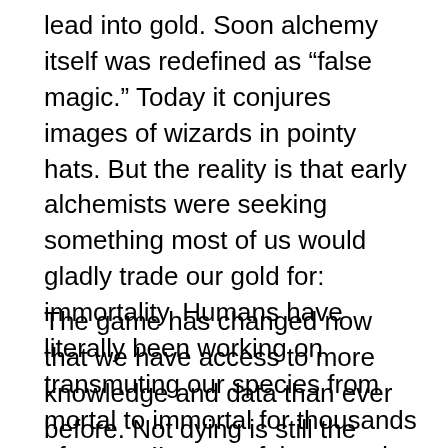lead into gold. Soon alchemy itself was redefined as “false magic.” Today it conjures images of wizards in pointy hats. But the reality is that early alchemists were seeking something most of us would gladly trade our gold for: immortality. Humans have literally been working on transmuting our species from mortal to immortal for thousands of years. I’m one of them, and this book is about what it’s been like to work on extending my own life for the past twenty years.
The game has changed now that we have access to more knowledge and data than ever before. Not dying is still the number one motivator for all humans, and it isn’t because we choose it. This